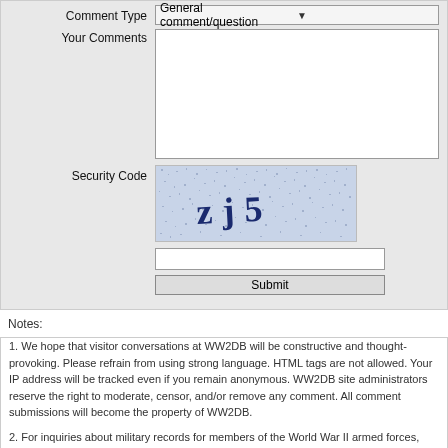[Figure (screenshot): Web form with Comment Type dropdown showing 'General comment/question', Your Comments textarea, Security Code CAPTCHA image showing 'zj5', text input field, and Submit button]
Notes:
1. We hope that visitor conversations at WW2DB will be constructive and thought-provoking. Please refrain from using strong language. HTML tags are not allowed. Your IP address will be tracked even if you remain anonymous. WW2DB site administrators reserve the right to moderate, censor, and/or remove any comment. All comment submissions will become the property of WW2DB.
2. For inquiries about military records for members of the World War II armed forces, please see our FAQ.
About the Site
The World War II Database is founded and managed by C. Peter Chen of Lava Development, LLC. The goal of this site is two fold. First, it is aiming to offer interesting and useful information about WW2. Second, it is to showcase Lava's technical capabilities.
» More About WW2DB
» More About Lava
» Syndication